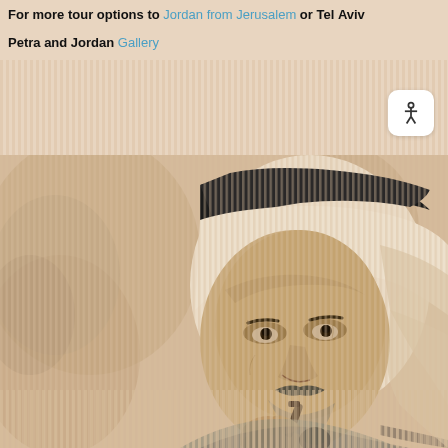For more tour options to Jordan from Jerusalem or Tel Aviv
Petra and Jordan Gallery
[Figure (photo): Black and white sketch-style photograph of a Middle Eastern man wearing a keffiyeh (traditional headdress) and smoking a pipe. He has a beard and is looking upward. The image has a sepia/cream tone with vertical stripe artifacts at top and bottom edges.]